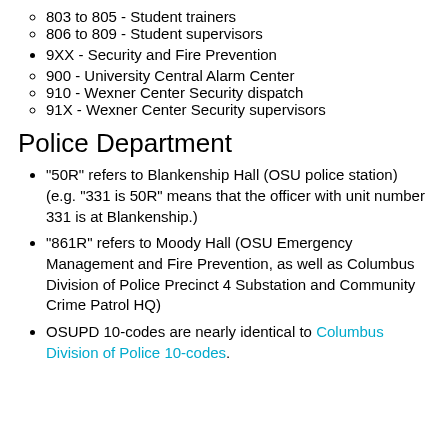803 to 805 - Student trainers
806 to 809 - Student supervisors
9XX - Security and Fire Prevention
900 - University Central Alarm Center
910 - Wexner Center Security dispatch
91X - Wexner Center Security supervisors
Police Department
"50R" refers to Blankenship Hall (OSU police station) (e.g. "331 is 50R" means that the officer with unit number 331 is at Blankenship.)
"861R" refers to Moody Hall (OSU Emergency Management and Fire Prevention, as well as Columbus Division of Police Precinct 4 Substation and Community Crime Patrol HQ)
OSUPD 10-codes are nearly identical to Columbus Division of Police 10-codes.